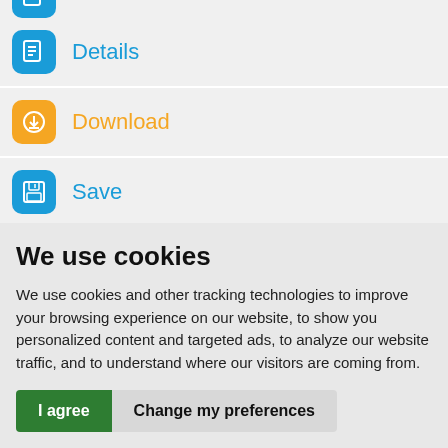[Figure (screenshot): Partial blue icon at top of screen, cropped]
Details
Download
Save
Erase junk files  uninstall applications  delete large files
We use cookies
We use cookies and other tracking technologies to improve your browsing experience on our website, to show you personalized content and targeted ads, to analyze our website traffic, and to understand where our visitors are coming from.
I agree  Change my preferences